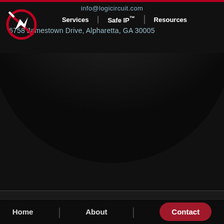info@logicircuit.com
Services | Safe IP™ | Resources
6758 Jamestown Drive, Alpharetta, GA 30005
[Figure (logo): Logicircuit logo: circular red ring with white diagonal arrow/rocket mark]
[Figure (illustration): Large dark spherical gradient background element]
[Figure (logo): Mentor Graphics logo in red italic bold text, and Xilinx Alliance Program logo in white]
© 2022 Logicircuit | Site: Valor Design, LLC
Home | About | Contact